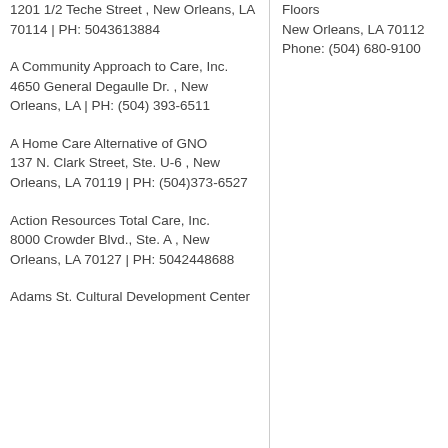1201 1/2 Teche Street , New Orleans, LA 70114 | PH: 5043613884
A Community Approach to Care, Inc.
4650 General Degaulle Dr. , New Orleans, LA | PH: (504) 393-6511
A Home Care Alternative of GNO
137 N. Clark Street, Ste. U-6 , New Orleans, LA 70119 | PH: (504)373-6527
Action Resources Total Care, Inc.
8000 Crowder Blvd., Ste. A , New Orleans, LA 70127 | PH: 5042448688
Adams St. Cultural Development Center
Floors
New Orleans, LA 70112
Phone: (504) 680-9100